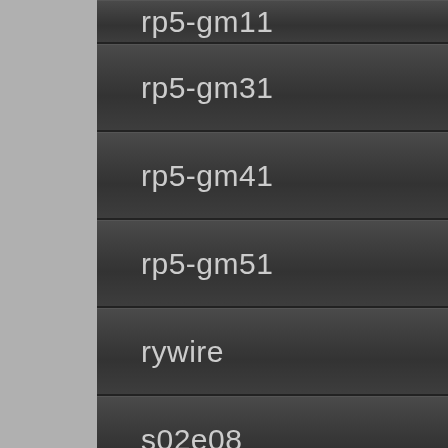rp5-gm11
rp5-gm31
rp5-gm41
rp5-gm51
rywire
s02e08
saab
schleuniger
seadoo
seat
sega
select